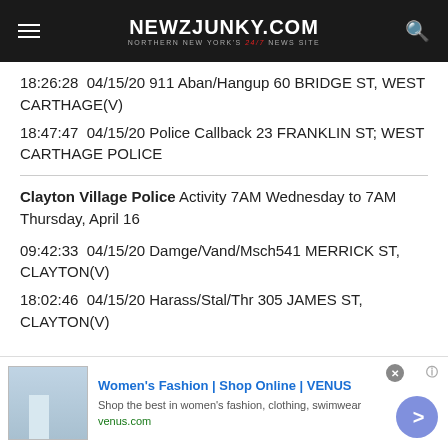NEWZJUNKY.COM — NORTHERN NEW YORK'S 24/7 NEWS SITE
18:26:28  04/15/20 911 Aban/Hangup 60 BRIDGE ST, WEST CARTHAGE(V)
18:47:47  04/15/20 Police Callback 23 FRANKLIN ST; WEST CARTHAGE POLICE
Clayton Village Police Activity 7AM Wednesday to 7AM Thursday, April 16
09:42:33  04/15/20 Damge/Vand/Msch541 MERRICK ST, CLAYTON(V)
18:02:46  04/15/20 Harass/Stal/Thr 305 JAMES ST, CLAYTON(V)